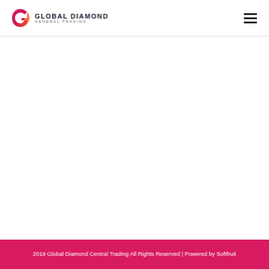Global Diamond General Trading
2019 Global Diamond Central Trading All Rights Reserved | Powered by Softfruit